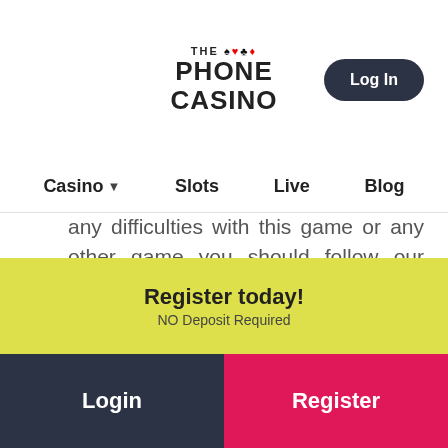[Figure (logo): The Phone Casino logo with card suits (spade, heart, club, diamond) above the text]
Casino   Slots   Live   Blog
any difficulties with this game or any other game you should follow our Complaints procedure and contact us.
Register today! NO Deposit Required
Login   Register